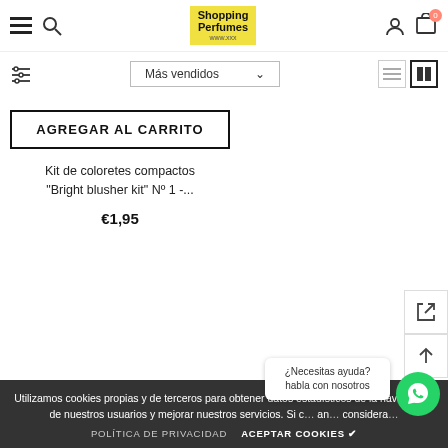Shopping Perfumes
Más vendidos
AGREGAR AL CARRITO
Kit de coloretes compactos "Bright blusher kit" Nº 1 -...
€1,95
Utilizamos cookies propias y de terceros para obtener datos estadísticos de la navegación de nuestros usuarios y mejorar nuestros servicios. Si c... an... considera...
¿Necesitas ayuda? habla con nosotros
POLÍTICA DE PRIVACIDAD   ACEPTAR COOKIES ✔